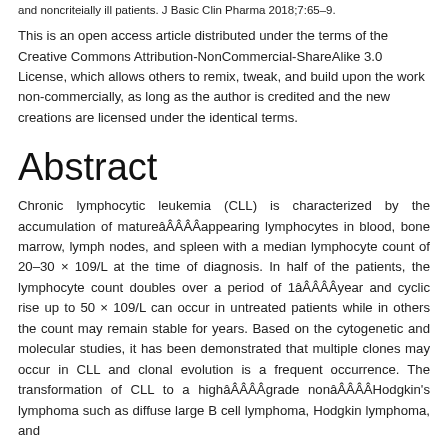and noncriteially ill patients. J Basic Clin Pharma 2018;7:65–9.
This is an open access article distributed under the terms of the Creative Commons Attribution-NonCommercial-ShareAlike 3.0 License, which allows others to remix, tweak, and build upon the work non-commercially, as long as the author is credited and the new creations are licensed under the identical terms.
Abstract
Chronic lymphocytic leukemia (CLL) is characterized by the accumulation of matureâÂÂÂÂappearing lymphocytes in blood, bone marrow, lymph nodes, and spleen with a median lymphocyte count of 20–30 × 109/L at the time of diagnosis. In half of the patients, the lymphocyte count doubles over a period of 1âÂÂÂÂyear and cyclic rise up to 50 × 109/L can occur in untreated patients while in others the count may remain stable for years. Based on the cytogenetic and molecular studies, it has been demonstrated that multiple clones may occur in CLL and clonal evolution is a frequent occurrence. The transformation of CLL to a highâÂÂÂÂgrade nonâÂÂÂÂHodgkin's lymphoma such as diffuse large B cell lymphoma, Hodgkin lymphoma, and